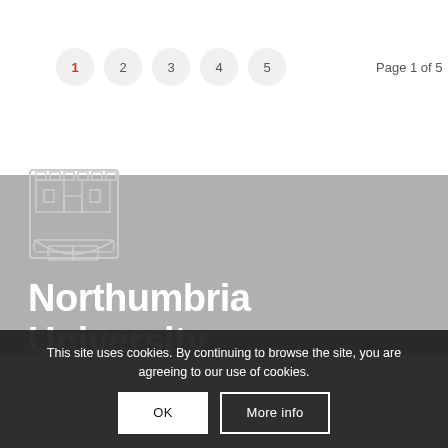1  2  3  4  5    Page 1 of 5
[Figure (logo): Northumbria University logo with shield crest and text 'Northumbria University' on gray background]
This site uses cookies. By continuing to browse the site, you are agreeing to our use of cookies.